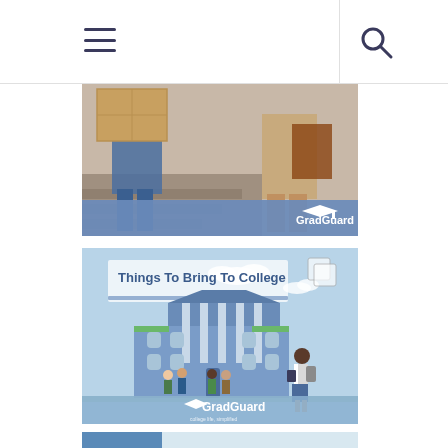Navigation header with hamburger menu and search icon
[Figure (photo): Photo of students moving into college dorm, carrying cardboard boxes on stairs, with GradGuard logo overlay at bottom right]
[Figure (infographic): GradGuard infographic titled 'Things To Bring To College' showing illustrated college building with students and GradGuard logo at bottom on light blue background]
[Figure (photo): Partial photo at bottom of page, appears to show a dorm or college setting]